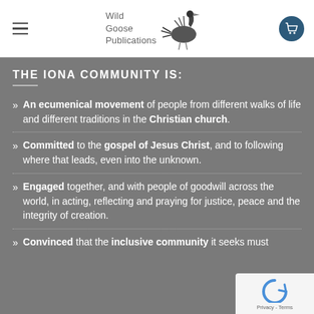Wild Goose Publications
THE IONA COMMUNITY IS:
An ecumenical movement of people from different walks of life and different traditions in the Christian church.
Committed to the gospel of Jesus Christ, and to following where that leads, even into the unknown.
Engaged together, and with people of goodwill across the world, in acting, reflecting and praying for justice, peace and the integrity of creation.
Convinced that the inclusive community it seeks must